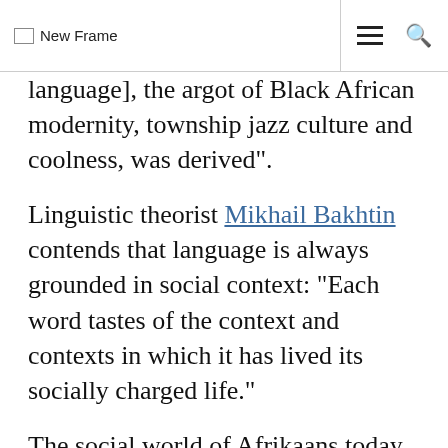New Frame
language], the argot of Black African modernity, township jazz culture and coolness, was derived”.
Linguistic theorist Mikhail Bakhtin contends that language is always grounded in social context: “Each word tastes of the context and contexts in which it has lived its socially charged life.”
The social world of Afrikaans today is very different to when Afrikaaps was developed and filmed, but the heavy lifting of stripping the